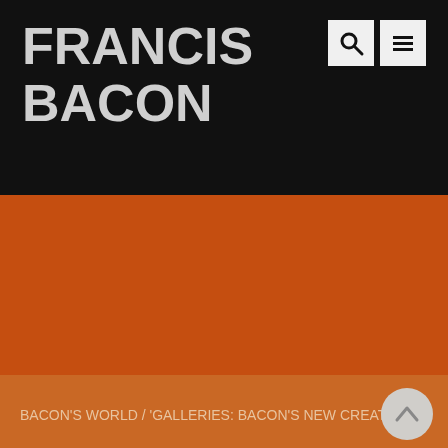FRANCIS BACON
[Figure (illustration): Orange/rust colored rectangular image area, representing a webpage hero image placeholder for the Francis Bacon website]
BACON'S WORLD / 'GALLERIES: BACON'S NEW CREATIVITY'
'GALLERIES: BACON'S NEW CREATIVITY'